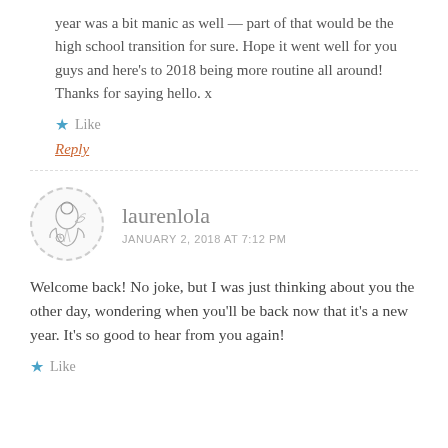year was a bit manic as well — part of that would be the high school transition for sure. Hope it went well for you guys and here's to 2018 being more routine all around! Thanks for saying hello. x
★ Like
Reply
laurenlola
JANUARY 2, 2018 AT 7:12 PM
Welcome back! No joke, but I was just thinking about you the other day, wondering when you'll be back now that it's a new year. It's so good to hear from you again!
★ Like